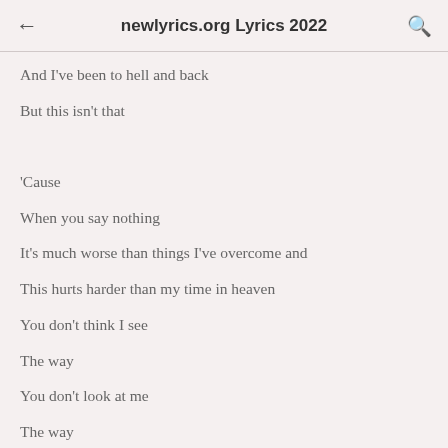newlyrics.org Lyrics 2022
And I've been to hell and back
But this isn't that
'Cause
When you say nothing
It's much worse than things I've overcome and
This hurts harder than my time in heaven
You don't think I see
The way
You don't look at me
The way
You don't look at me